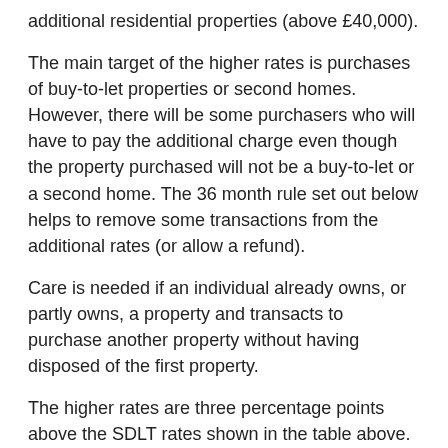additional residential properties (above £40,000).
The main target of the higher rates is purchases of buy-to-let properties or second homes. However, there will be some purchasers who will have to pay the additional charge even though the property purchased will not be a buy-to-let or a second home. The 36 month rule set out below helps to remove some transactions from the additional rates (or allow a refund).
Care is needed if an individual already owns, or partly owns, a property and transacts to purchase another property without having disposed of the first property.
The higher rates are three percentage points above the SDLT rates shown in the table above. The higher rates potentially apply if, at the end of the day of the purchase transaction, the individual owns two or more residential properties.
Some further detail: